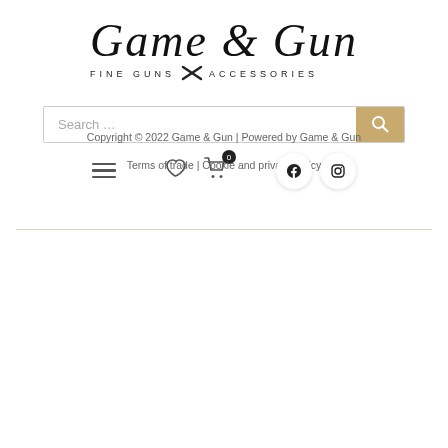[Figure (logo): Game & Gun logo with script text and 'Fine Guns & Accessories' subtitle with crossed guns icon]
[Figure (screenshot): Search bar with text 'Search ...' and tan/gold search button with magnifying glass icon]
[Figure (screenshot): Navigation icons: hamburger menu, heart/wishlist icon, shopping cart icon with badge '0', and social media icons (Facebook, Instagram)]
[Figure (photo): Textured light gray background filling lower portion of the page]
Copyright © 2022 Game & Gun | Powered by Game & Gun
Terms of trade | Cookie and privacy policy